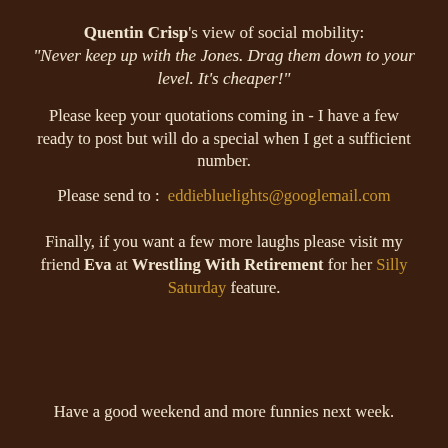Quentin Crisp's view of social mobility: "Never keep up with the Jones. Drag them down to your level. It's cheaper!"
Please keep your quotations coming in - I have a few ready to post but will do a special when I get a sufficient number.
Please send to :  eddiebluelights@googlemail.com
Finally, if you want a few more laughs please visit my friend Eva at Wrestling With Retirement for her Silly Saturday feature.
Have a good weekend and more funnies next week.